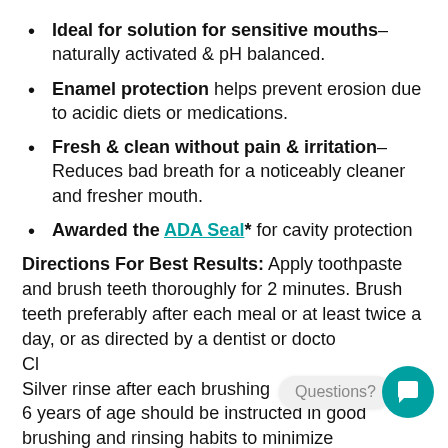Ideal for solution for sensitive mouths– naturally activated & pH balanced.
Enamel protection helps prevent erosion due to acidic diets or medications.
Fresh & clean without pain & irritation– Reduces bad breath for a noticeably cleaner and fresher mouth.
Awarded the ADA Seal* for cavity protection
Directions For Best Results: Apply toothpaste and brush teeth thoroughly for 2 minutes. Brush teeth preferably after each meal or at least twice a day, or as directed by a dentist or doctor. Cl... Silver rinse after each brushing... en... 6 years of age should be instructed in good brushing and rinsing habits to minimize swallowing. Children